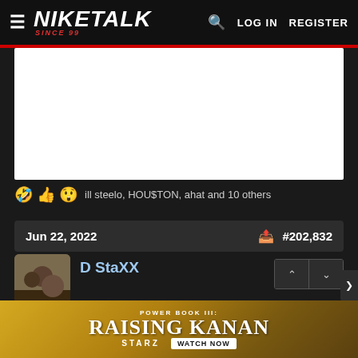NIKETALK SINCE 99 | LOG IN | REGISTER
[Figure (screenshot): White content area / embedded image placeholder]
🤣👍😲 ill steelo, HOU$TON, ahat and 10 others
Jun 22, 2022   #202,832
D StaXX
[Figure (photo): User avatar photo showing people]
[Figure (photo): Ad banner: POWER BOOK III: RAISING KANAN - STARZ WATCH NOW]